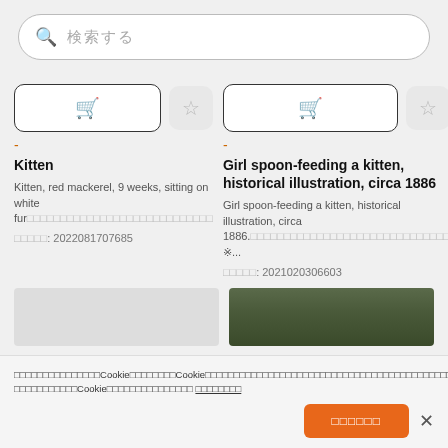[Figure (screenshot): Search bar with magnifying glass icon and Japanese placeholder text]
[Figure (screenshot): Two product cards: 'Kitten' and 'Girl spoon-feeding a kitten, historical illustration, circa 1886' with cart and star buttons, descriptions, and item IDs]
Kitten
Kitten, red mackerel, 9 weeks, sitting on white fur [Japanese text]
画像ID: 2022081707685
Girl spoon-feeding a kitten, historical illustration, circa 1886
Girl spoon-feeding a kitten, historical illustration, circa 1886. [Japanese text] ※...
画像ID: 2021020306603
[Japanese cookie notice text] Cookie [Japanese] Cookie [Japanese] Cookie [Japanese] [link: Japanese text]
同意して続ける